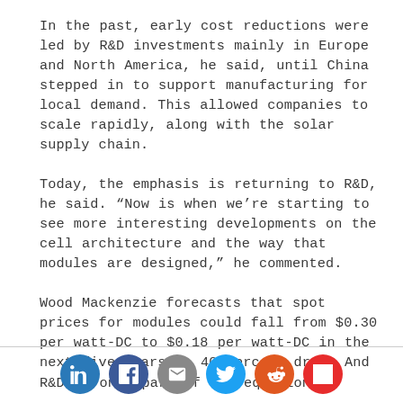In the past, early cost reductions were led by R&D investments mainly in Europe and North America, he said, until China stepped in to support manufacturing for local demand. This allowed companies to scale rapidly, along with the solar supply chain.
Today, the emphasis is returning to R&D, he said. “Now is when we’re starting to see more interesting developments on the cell architecture and the way that modules are designed,” he commented.
Wood Mackenzie forecasts that spot prices for modules could fall from $0.30 per watt-DC to $0.18 per watt-DC in the next five years, a 40 percent drop. And R&D is only part of the equation.
[Figure (other): Social sharing icons row: LinkedIn, Facebook, Email, Twitter, Reddit, Flipboard]